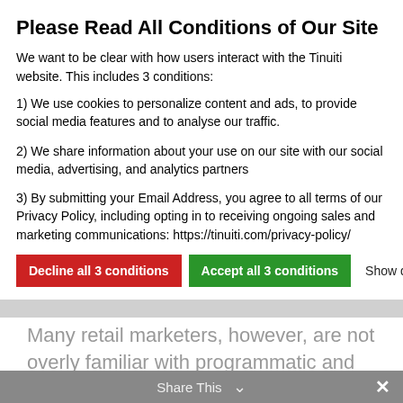Please Read All Conditions of Our Site
We want to be clear with how users interact with the Tinuiti website. This includes 3 conditions:
1) We use cookies to personalize content and ads, to provide social media features and to analyse our traffic.
2) We share information about your use on our site with our social media, advertising, and analytics partners
3) By submitting your Email Address, you agree to all terms of our Privacy Policy, including opting in to receiving ongoing sales and marketing communications: https://tinuiti.com/privacy-policy/
Decline all 3 conditions | Accept all 3 conditions | Show details
delivering content to target audiences.
Many retail marketers, however, are not overly familiar with programmatic and how to use it.
What is Programmatic?
Put simply, programmatic buying is the purchasing